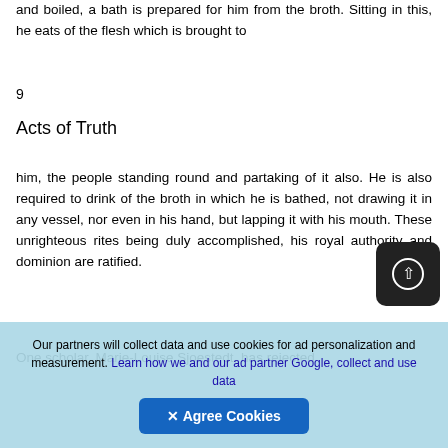and boiled, a bath is prepared for him from the broth. Sitting in this, he eats of the flesh which is brought to
9
Acts of Truth
him, the people standing round and partaking of it also. He is also required to drink of the broth in which he is bathed, not drawing it in any vessel, nor even in his hand, but lapping it with his mouth. These unrighteous rites being duly accomplished, his royal authority and dominion are ratified.
One scholar, Marie-Louise Sjoestedt, has rejected
Our partners will collect data and use cookies for ad personalization and measurement. Learn how we and our ad partner Google, collect and use data